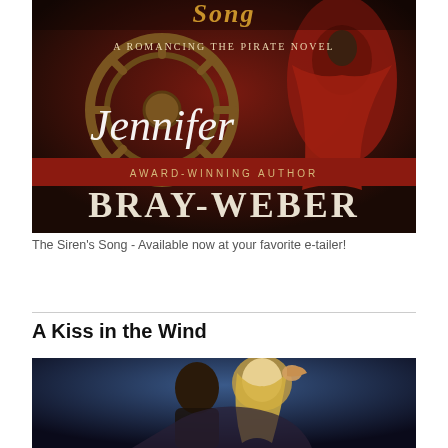[Figure (illustration): Book cover for 'The Siren's Song - A Romancing the Pirate Novel' by Jennifer Bray-Weber (Award-Winning Author). Dark red and brown tones with a ship's wheel and figure in red cloak. Author name in large script and serif fonts.]
The Siren's Song - Available now at your favorite e-tailer!
A Kiss in the Wind
[Figure (photo): Romance novel cover photo showing a man and woman in an intimate embrace, the woman with blonde hair.]